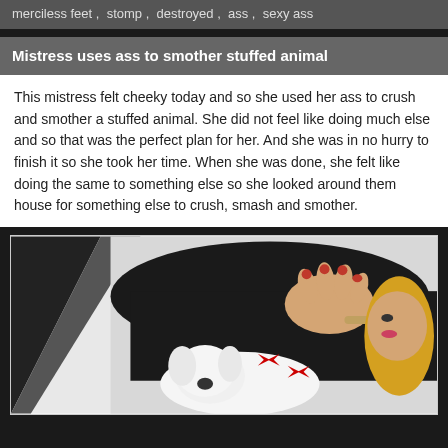merciless feet , stomp , destroyed , ass , sexy ass
Mistress uses ass to smother stuffed animal
This mistress felt cheeky today and so she used her ass to crush and smother a stuffed animal. She did not feel like doing much else and so that was the perfect plan for her. And she was in no hurry to finish it so she took her time. When she was done, she felt like doing the same to something else so she looked around them house for something else to crush, smash and smother.
[Figure (photo): Woman in black pants crouching over a white stuffed animal dog, pressing down on it with her body]